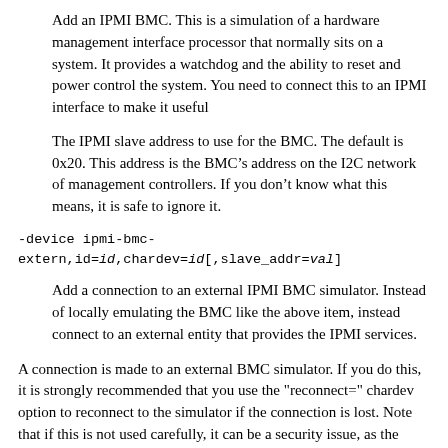Add an IPMI BMC. This is a simulation of a hardware management interface processor that normally sits on a system. It provides a watchdog and the ability to reset and power control the system. You need to connect this to an IPMI interface to make it useful
The IPMI slave address to use for the BMC. The default is 0x20. This address is the BMC’s address on the I2C network of management controllers. If you don’t know what this means, it is safe to ignore it.
-device ipmi-bmc-extern,id=id,chardev=id[,slave_addr=val]
Add a connection to an external IPMI BMC simulator. Instead of locally emulating the BMC like the above item, instead connect to an external entity that provides the IPMI services.
A connection is made to an external BMC simulator. If you do this, it is strongly recommended that you use the "reconnect=" chardev option to reconnect to the simulator if the connection is lost. Note that if this is not used carefully, it can be a security issue, as the interface has the ability to send resets, NMIs, and power off the VM. It’s best if QEMU makes a connection to an external simulator running on a